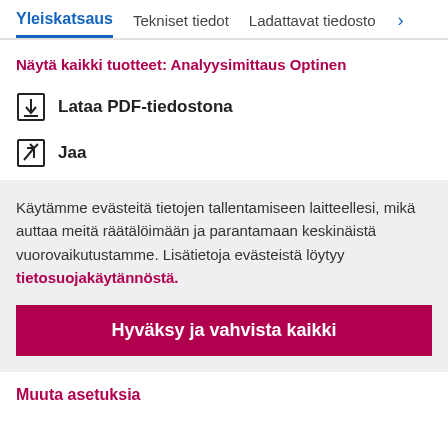Yleiskatsaus  Tekniset tiedot  Ladattavat tiedosto >
Näytä kaikki tuotteet: Analyysimittaus Optinen
Lataa PDF-tiedostona
Jaa
Käytämme evästeitä tietojen tallentamiseen laitteellesi, mikä auttaa meitä räätälöimään ja parantamaan keskinäistä vuorovaikutustamme. Lisätietoja evästeistä löytyy tietosuojakäytännöstä.
Hyväksy ja vahvista kaikki
Muuta asetuksia